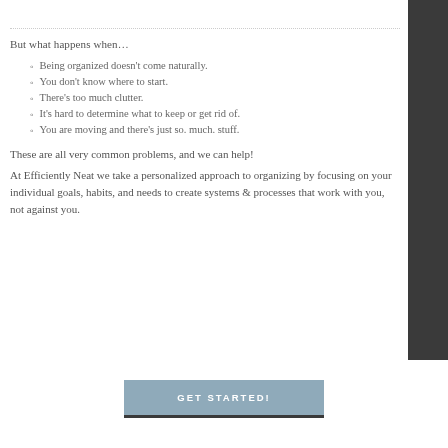But what happens when…
Being organized doesn't come naturally.
You don't know where to start.
There's too much clutter.
It's hard to determine what to keep or get rid of.
You are moving and there's just so. much. stuff.
These are all very common problems, and we can help!
At Efficiently Neat we take a personalized approach to organizing by focusing on your individual goals, habits, and needs to create systems & processes that work with you, not against you.
GET STARTED!